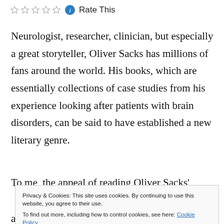Rate This
Neurologist, researcher, clinician, but especially a great storyteller, Oliver Sacks has millions of fans around the world. His books, which are essentially collections of case studies from his experience looking after patients with brain disorders, can be said to have established a new literary genre.
To me, the appeal of reading Oliver Sacks'
and concepts I'd read about in some of his previous
Privacy & Cookies: This site uses cookies. By continuing to use this website, you agree to their use. To find out more, including how to control cookies, see here: Cookie Policy